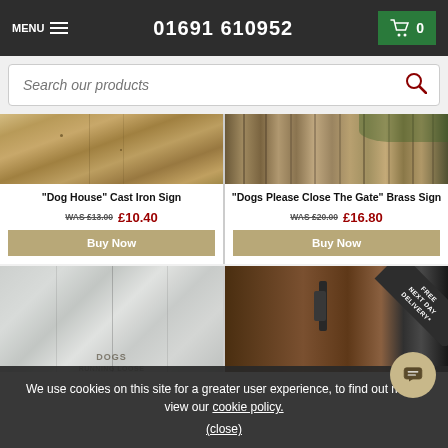MENU  01691 610952  0
Search our products
[Figure (photo): Top half of wooden fence/gate product image - weathered natural wood]
"Dog House" Cast Iron Sign
WAS £13.00  £10.40
Buy Now
[Figure (photo): Top half of fence pickets product image - brown wooden fence stakes]
"Dogs Please Close The Gate" Brass Sign
WAS £20.00  £16.80
Buy Now
[Figure (photo): Whitewashed wooden fence panel image]
[Figure (photo): Wooden door with digital lock, FREE NEXT DAY DELIVERY ribbon in corner]
We use cookies on this site for a greater user experience, to find out more, view our cookie policy.
(close)